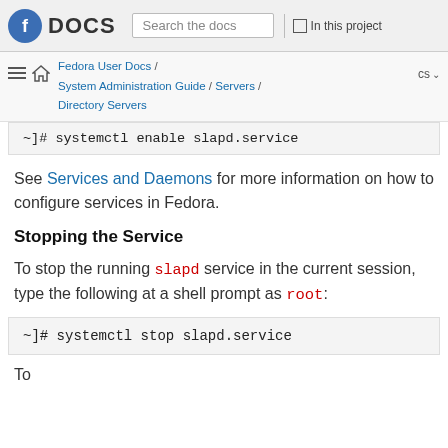Fedora DOCS | Search the docs | In this project
Fedora User Docs / System Administration Guide / Servers / Directory Servers | cs
~]# systemctl enable slapd.service
See Services and Daemons for more information on how to configure services in Fedora.
Stopping the Service
To stop the running slapd service in the current session, type the following at a shell prompt as root:
~]# systemctl stop slapd.service
To